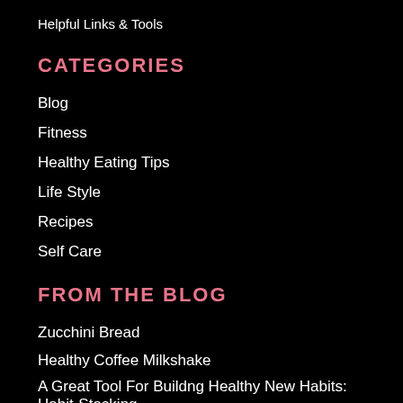Helpful Links & Tools
CATEGORIES
Blog
Fitness
Healthy Eating Tips
Life Style
Recipes
Self Care
FROM THE BLOG
Zucchini Bread
Healthy Coffee Milkshake
A Great Tool For Buildng Healthy New Habits: Habit-Stacking